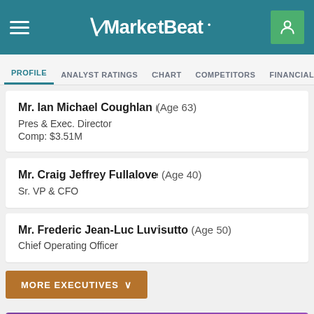MarketBeat
PROFILE  ANALYST RATINGS  CHART  COMPETITORS  FINANCIALS  HEADLINES
Mr. Ian Michael Coughlan (Age 63)
Pres & Exec. Director
Comp: $3.51M
Mr. Craig Jeffrey Fullalove (Age 40)
Sr. VP & CFO
Mr. Frederic Jean-Luc Luvisutto (Age 50)
Chief Operating Officer
MORE EXECUTIVES
Key Competitors